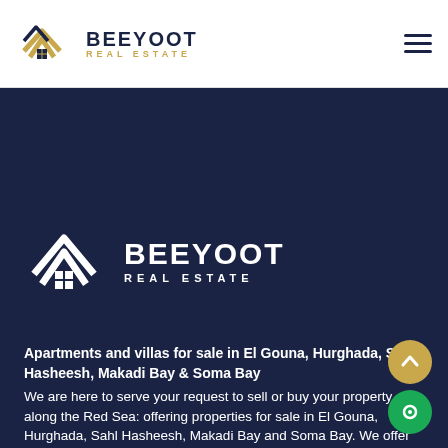[Figure (logo): Beeyoot Real Estate logo in header - house/chevron mark in navy and gold with BEEYOOT REAL ESTATE text]
[Figure (logo): Beeyoot Real Estate logo large on navy background - white house/chevron mark with BEEYOOT REAL ESTATE in white]
Apartments and villas for sale in El Gouna, Hurghada, Sahl Hasheesh, Makadi Bay & Soma Bay
We are here to serve your request to sell or buy your property along the Red Sea: offering properties for sale in El Gouna, Hurghada, Sahl Hasheesh, Makadi Bay and Soma Bay. We offer primary and resale variety for reputable developers such as Orascom, ERG, Soma Bay and etc. Our property consultant team will be happy to assist you for choosing the best option at the best service standard you deserve.